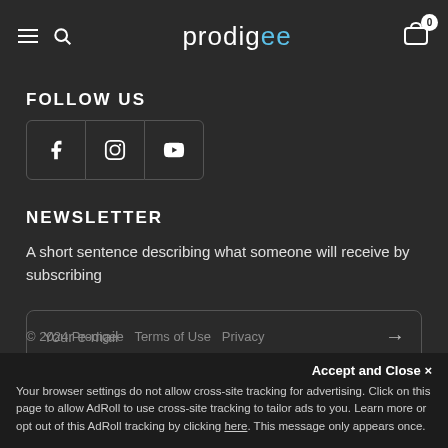prodigee
FOLLOW US
[Figure (illustration): Social media icons: Facebook, Instagram, YouTube in bordered buttons]
NEWSLETTER
A short sentence describing what someone will receive by subscribing
Your e-mail
© 2024 Prodigee  Terms of Use  Privacy
Accept and Close ×
Your browser settings do not allow cross-site tracking for advertising. Click on this page to allow AdRoll to use cross-site tracking to tailor ads to you. Learn more or opt out of this AdRoll tracking by clicking here. This message only appears once.